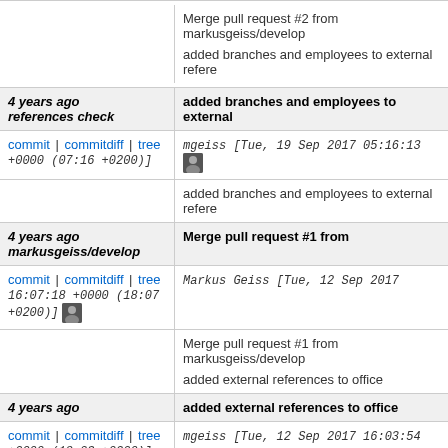Merge pull request #2 from markusgeiss/develop
added branches and employees to external references check
4 years ago  added branches and employees to external references check
commit | commitdiff | tree  mgeiss [Tue, 19 Sep 2017 05:16:13 +0000 (07:16 +0200)]
added branches and employees to external references check
4 years ago  Merge pull request #1 from markusgeiss/develop
commit | commitdiff | tree  Markus Geiss [Tue, 12 Sep 2017 16:07:18 +0000 (18:07 +0200)]
Merge pull request #1 from markusgeiss/develop
added external references to office
4 years ago  added external references to office
commit | commitdiff | tree  mgeiss [Tue, 12 Sep 2017 16:03:54 +0000 (18:03 +0200)]